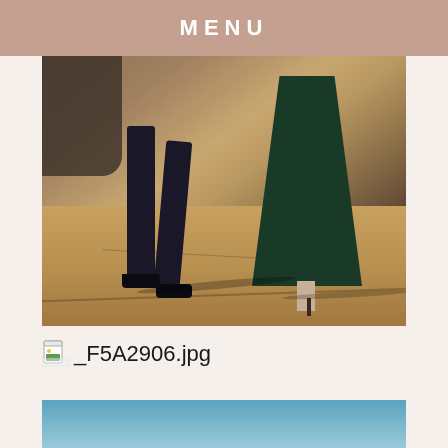MENU
[Figure (photo): Close-up photo of two people walking on cracked pavement. Left figure wearing dark jeans and black shoes, right figure wearing a flowing dark green dress and high heels. Long shadows cast on the sandy/concrete ground.]
_F5A2906.jpg
[Figure (photo): Partial view of a sky photo showing blue sky, cropped at bottom of page.]